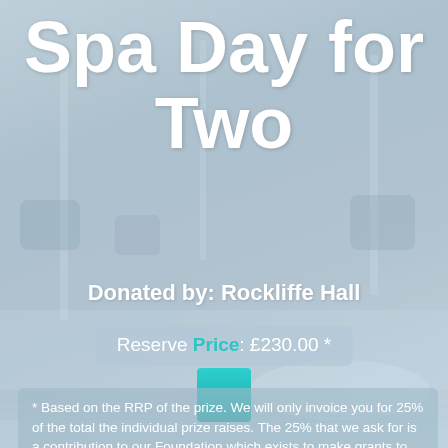Spa Day for Two
Donated by: Rockliffe Hall
Reserve Price: £230.00 *
* Based on the RRP of the prize. We will only invoice you for 25% of the total the individual prize raises. The 25% that we ask for is a contribution to our Foundation which exists to make grants to other charities.